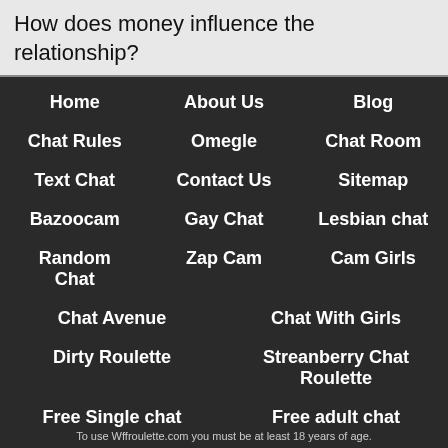How does money influence the relationship?
Home
About Us
Blog
Chat Rules
Omegle
Chat Room
Text Chat
Contact Us
Sitemap
Bazoocam
Gay Chat
Lesbian chat
Random Chat
Zap Cam
Cam Girls
Chat Avenue
Chat With Girls
Dirty Roulette
Streanberry Chat Roulette
Free Single chat
Free adult chat
Free dating chat
Free live chat
To use Wffroulette.com you must be at least 18 years of age.